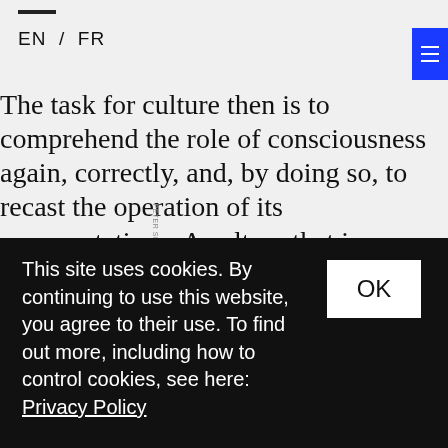EN / FR
The task for culture then is to comprehend the role of consciousness again, correctly, and, by doing so, to recast the operation of its representations. A culture that is critical, or skeptical, of the circumstances in which it finds itself should not be involved in the legacy of Cartesian paranoia of the kind we have been discussing
This site uses cookies. By continuing to use this website, you agree to their use. To find out more, including how to control cookies, see here: Privacy Policy